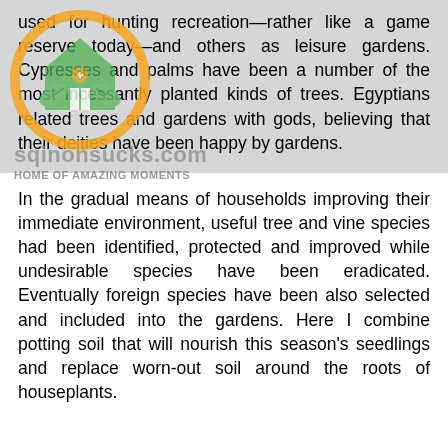used for hunting recreation—rather like a game reserve today—and others as leisure gardens. Cypresses and palms have been a number of the most incessantly planted kinds of trees. Egyptians related trees and gardens with gods, believing that their deities have been happy by gardens.
[Figure (logo): Circular logo with orange ring, green house icon and leaves inside, with watermark text 'sqinonsucks.com' and 'HOME OF AMAZING MOMENTS']
In the gradual means of households improving their immediate environment, useful tree and vine species had been identified, protected and improved while undesirable species have been eradicated. Eventually foreign species have been also selected and included into the gardens. Here I combine potting soil that will nourish this season's seedlings and replace worn-out soil around the roots of houseplants.